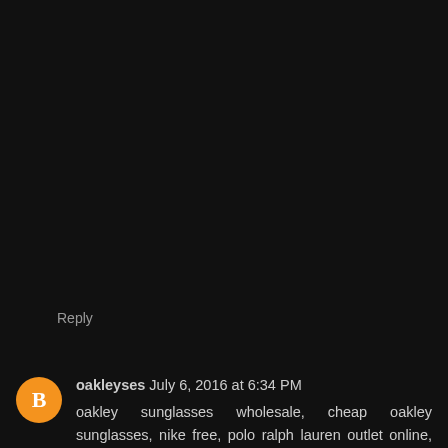Reply
oakleyses July 6, 2016 at 6:34 PM
oakley sunglasses wholesale, cheap oakley sunglasses, nike free, polo ralph lauren outlet online, louboutin pas cher, nike roshe, uggs on sale, kate spade outlet, louis